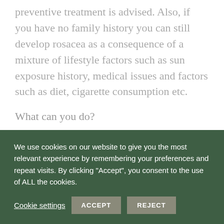preventive treatment is advised. Also, if you have no family history you can still develop rosacea as a consequence of a mixture of lifestyle factors such as sun exposure history, medical issues and factors such as diet, cigarette consumption etc.
What can you do?
As well as isolating the trigger factors that are a relevant to you and avoiding them where possible, correct skincare can help. In the first instance we
We use cookies on our website to give you the most relevant experience by remembering your preferences and repeat visits. By clicking “Accept”, you consent to the use of ALL the cookies.
Cookie settings | ACCEPT | REJECT